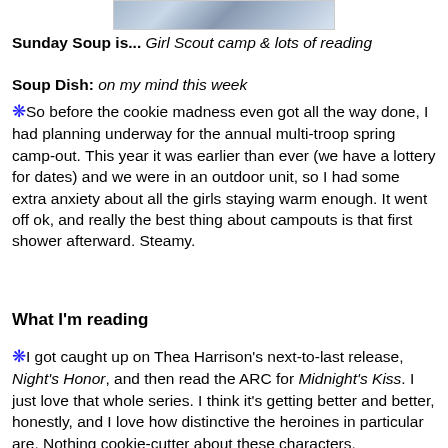[Figure (photo): Partial image of a plaid/checkered fabric or blanket in blue and white tones, cropped at the top of the page]
Sunday Soup is... Girl Scout camp & lots of reading
Soup Dish:  on my mind this week
❋So before the cookie madness even got all the way done, I had planning underway for the annual multi-troop spring camp-out.  This year it was earlier than ever (we have a lottery for dates) and we were in an outdoor unit, so I had some extra anxiety about all the girls staying warm enough.  It went off ok, and really the best thing about campouts is that first shower afterward.  Steamy.
What I'm reading
❋I got caught up on Thea Harrison's next-to-last release, Night's Honor, and then read the ARC for Midnight's Kiss.  I just love that whole series. I think it's getting better and better, honestly, and I love how distinctive the heroines in particular are.  Nothing cookie-cutter about these characters.